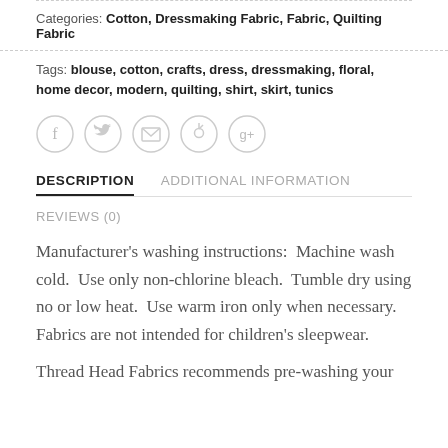Categories: Cotton, Dressmaking Fabric, Fabric, Quilting Fabric
Tags: blouse, cotton, crafts, dress, dressmaking, floral, home decor, modern, quilting, shirt, skirt, tunics
[Figure (infographic): Row of five circular social media share icons: Facebook (f), Twitter (bird), Email (envelope), Pinterest (p), Google+ (g+)]
DESCRIPTION   ADDITIONAL INFORMATION
REVIEWS (0)
Manufacturer’s washing instructions:  Machine wash cold.  Use only non-chlorine bleach.  Tumble dry using no or low heat.  Use warm iron only when necessary.  Fabrics are not intended for children’s sleepwear.
Thread Head Fabrics recommends pre-washing your